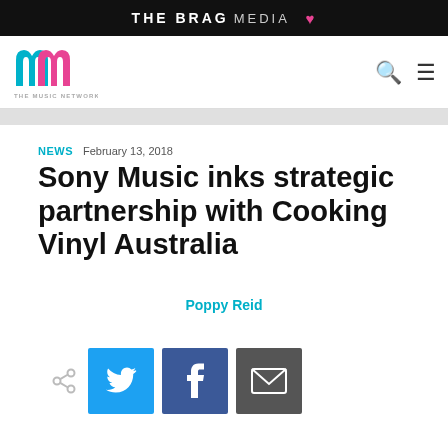THE BRAG MEDIA ♥
[Figure (logo): The Music Network logo — two overlapping 'm' letters in cyan and pink]
NEWS  February 13, 2018
Sony Music inks strategic partnership with Cooking Vinyl Australia
Poppy Reid
[Figure (infographic): Social share buttons: share icon, Twitter (blue), Facebook (dark blue), Email (grey)]